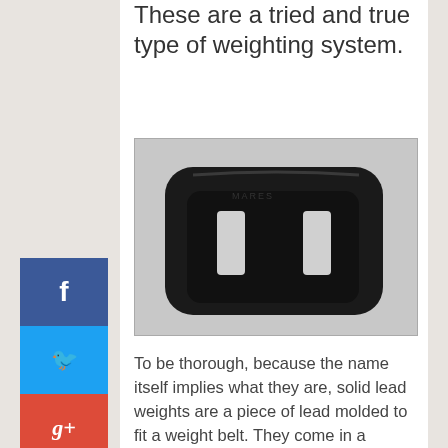These are a tried and true type of weighting system.
[Figure (photo): A black square-shaped lead diving weight with two slots/holes for threading a weight belt, photographed on a light gray surface.]
To be thorough, because the name itself implies what they are, solid lead weights are a piece of lead molded to fit a weight belt. They come in a variety of sizes, ranging from smaller, lighter ones